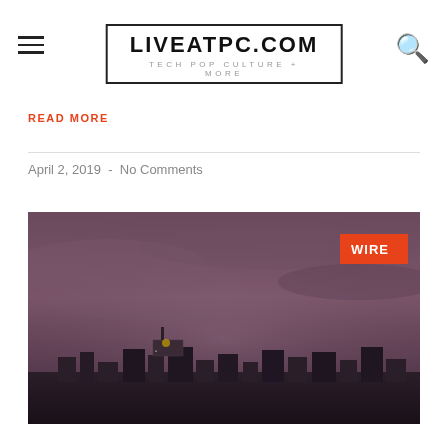LIVEATPC.COM — TECH POP CULTURE + MORE
READ MORE
April 2, 2019  -  No Comments
[Figure (photo): Dark moody cityscape photo with purple-grey stormy sky and city skyline silhouette. Orange 'WIRE' badge in top-right corner of image.]